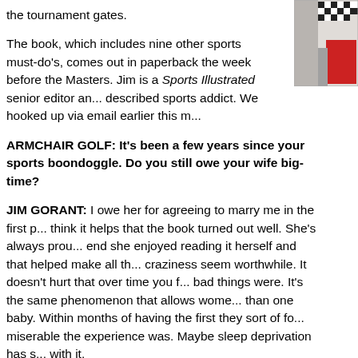the tournament gates.
[Figure (photo): Partial image of a racing or sports scene with checkered flags and people in red clothing, cropped at upper right.]
The book, which includes nine other sports must-do's, comes out in paperback the week before the Masters. Jim is a Sports Illustrated senior editor and a self-described sports addict. We hooked up via email earlier this m...
ARMCHAIR GOLF: It's been a few years since your sports boondoggle. Do you still owe your wife big-time?
JIM GORANT: I owe her for agreeing to marry me in the first p... think it helps that the book turned out well. She's always prou... end she enjoyed reading it herself and that helped make all th... craziness seem worthwhile. It doesn't hurt that over time you f... bad things were. It's the same phenomenon that allows wome... than one baby. Within months of having the first they sort of fo... miserable the experience was. Maybe sleep deprivation has s... with it.
AG: You've no doubt watched the Masters all your life. Wh... startling about actually being at the Masters and Augusta...